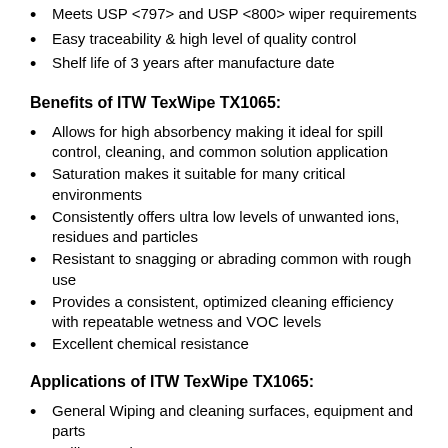Meets USP <797> and USP <800> wiper requirements
Easy traceability & high level of quality control
Shelf life of 3 years after manufacture date
Benefits of ITW TexWipe TX1065:
Allows for high absorbency making it ideal for spill control, cleaning, and common solution application
Saturation makes it suitable for many critical environments
Consistently offers ultra low levels of unwanted ions, residues and particles
Resistant to snagging or abrading common with rough use
Provides a consistent, optimized cleaning efficiency with repeatable wetness and VOC levels
Excellent chemical resistance
Applications of ITW TexWipe TX1065:
General Wiping and cleaning surfaces, equipment and parts
Spill Control
Lorem Performance